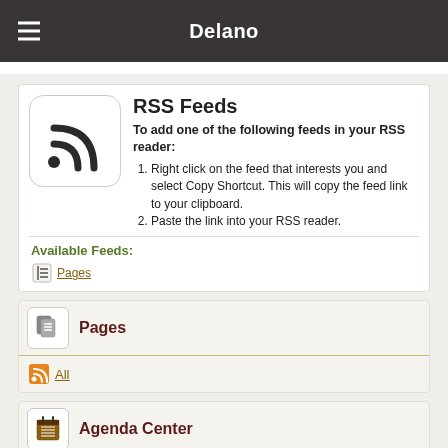Delano
RSS Feeds
To add one of the following feeds in your RSS reader:
Right click on the feed that interests you and select Copy Shortcut. This will copy the feed link to your clipboard.
Paste the link into your RSS reader.
Available Feeds:
Pages
Pages
All
Agenda Center